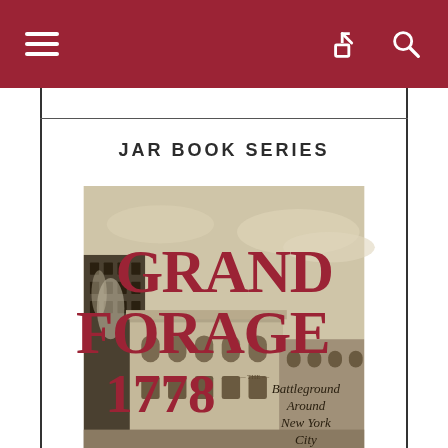Navigation bar with menu, share, and search icons
JAR BOOK SERIES
[Figure (illustration): Book cover of 'Grand Forage 1778: The Battleground Around New York City' — large red serif text on a warm beige background with a historical illustration of old New York City buildings]